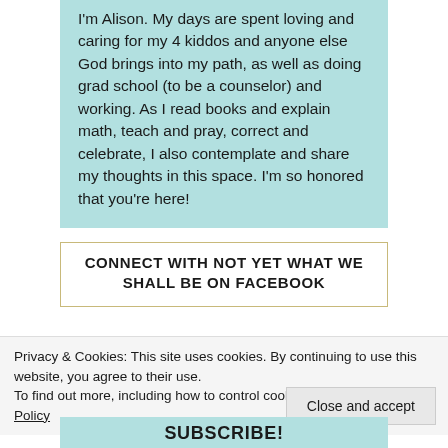I'm Alison. My days are spent loving and caring for my 4 kiddos and anyone else God brings into my path, as well as doing grad school (to be a counselor) and working. As I read books and explain math, teach and pray, correct and celebrate, I also contemplate and share my thoughts in this space. I'm so honored that you're here!
CONNECT WITH NOT YET WHAT WE SHALL BE ON FACEBOOK
Privacy & Cookies: This site uses cookies. By continuing to use this website, you agree to their use.
To find out more, including how to control cookies, see here: Cookie Policy
Close and accept
SUBSCRIBE!